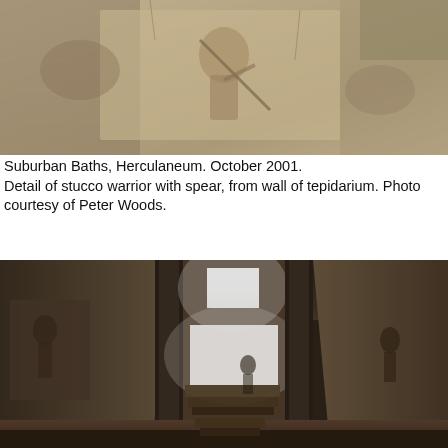[Figure (photo): Close-up photograph of a stucco relief on a stone wall showing a warrior figure with a spear, from the tepidarium of the Suburban Baths at Herculaneum. The surface is aged, with earthy tan and grey tones.]
Suburban Baths, Herculaneum. October 2001. Detail of stucco warrior with spear, from wall of tepidarium. Photo courtesy of Peter Woods.
[Figure (photo): Interior photograph of the Suburban Baths at Herculaneum, showing a dark vaulted room with stone columns, painted walls with faded figures, and bright light streaming through a square window opening in the upper portion of the far wall.]